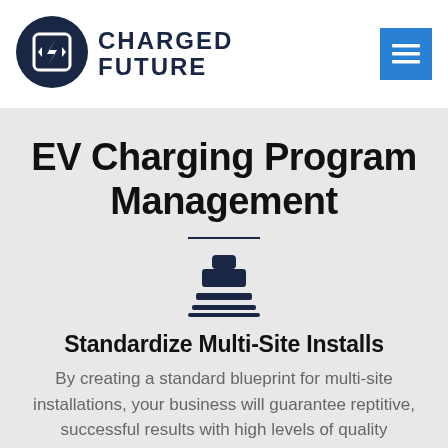[Figure (logo): Charged Future logo: dark navy circle with lightning bolt icon, text CHARGED FUTURE in bold navy letters]
EV Charging Program Management
[Figure (illustration): Stamp/approval icon in dark navy color]
Standardize Multi-Site Installs
By creating a standard blueprint for multi-site installations, your business will guarantee reptitive, successful results with high levels of quality